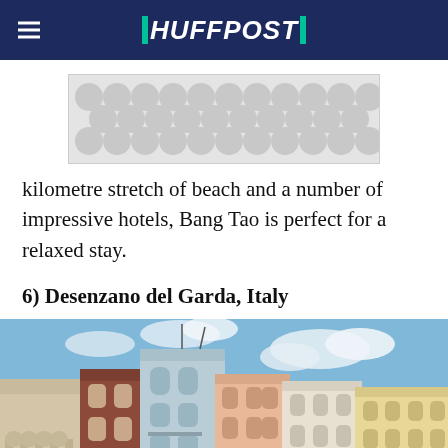HUFFPOST
[Figure (other): Advertisement placeholder with decorative circular pattern]
kilometre stretch of beach and a number of impressive hotels, Bang Tao is perfect for a relaxed stay.
6) Desenzano del Garda, Italy
[Figure (photo): Photo of colorful historic buildings in Desenzano del Garda, Italy, under a blue sky with clouds]